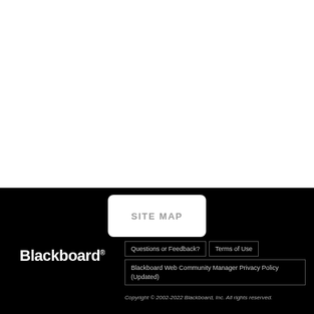[Figure (other): White blank area at top of page]
SITE MAP
[Figure (logo): Blackboard logo in white text on black background]
Questions or Feedback?
Terms of Use
Blackboard Web Community Manager Privacy Policy (Updated)
Copyright © 2002-2022 Blackboard, Inc. All rights reserved.